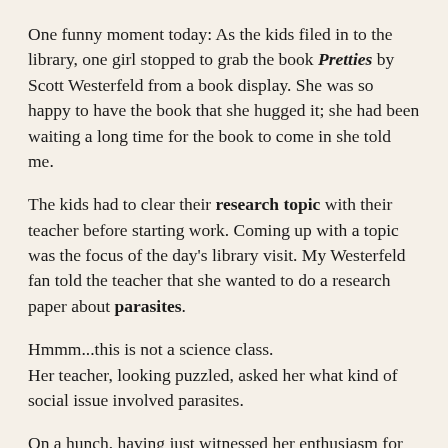One funny moment today: As the kids filed in to the library, one girl stopped to grab the book Pretties by Scott Westerfeld from a book display. She was so happy to have the book that she hugged it; she had been waiting a long time for the book to come in she told me.
The kids had to clear their research topic with their teacher before starting work. Coming up with a topic was the focus of the day's library visit. My Westerfeld fan told the teacher that she wanted to do a research paper about parasites.
Hmmm...this is not a science class.
Her teacher, looking puzzled, asked her what kind of social issue involved parasites.
On a hunch, having just witnessed her enthusiasm for all things Westerfeld, I asked her, "Have you been reading Peeps?"
"YESSSSSSS, she exclaimed, digging a copy of the book out of her backpack.
"Now I want to study parasites."